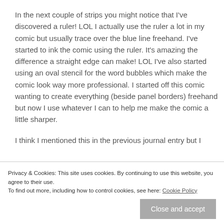In the next couple of strips you might notice that I've discovered a ruler! LOL I actually use the ruler a lot in my comic but usually trace over the blue line freehand. I've started to ink the comic using the ruler. It's amazing the difference a straight edge can make! LOL I've also started using an oval stencil for the word bubbles which make the comic look way more professional. I started off this comic wanting to create everything (beside panel borders) freehand but now I use whatever I can to help me make the comic a little sharper.
I think I mentioned this in the previous journal entry but I
Privacy & Cookies: This site uses cookies. By continuing to use this website, you agree to their use.
To find out more, including how to control cookies, see here: Cookie Policy
I'm only working on this comic to make a buck. (Although